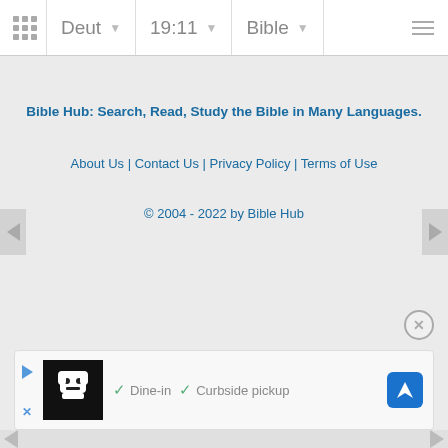Deut 19:11 Bible
Bible Hub: Search, Read, Study the Bible in Many Languages.
About Us | Contact Us | Privacy Policy | Terms of Use
© 2004 - 2022 by Bible Hub
[Figure (screenshot): Advertisement banner showing a restaurant logo, checkmarks for Dine-in and Curbside pickup, and a blue navigation icon]